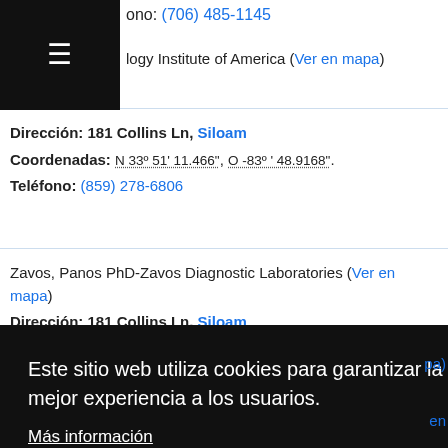ono: (706) 485-1145
logy Institute of America (Ver en mapa)
Dirección: 181 Collins Ln, Siloam
Coordenadas: N 33° 51' 11.466", O -83° ' 48.9168".
Teléfono: (859) 278-6806
Zavos, Panos PhD-Zavos Diagnostic Laboratories (Ver en mapa)
Dirección: 181 Collins Ln, Siloam
Coordenadas: N 33° 51' 11.466", O -83° ' 48.9168".
Teléfono: (859) 278-6806
Este sitio web utiliza cookies para garantizar la mejor experiencia a los usuarios.
Más información
De acuerdo
Coordenadas: N 33° 33' 55.5516", O -83° 28' 40.8144".